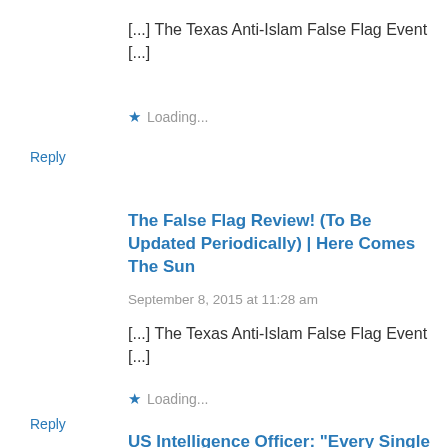[...] The Texas Anti-Islam False Flag Event [...]
Loading...
Reply
The False Flag Review! (To Be Updated Periodically) | Here Comes The Sun
September 8, 2015 at 11:28 am
[...] The Texas Anti-Islam False Flag Event [...]
Loading...
Reply
US Intelligence Officer: "Every Single